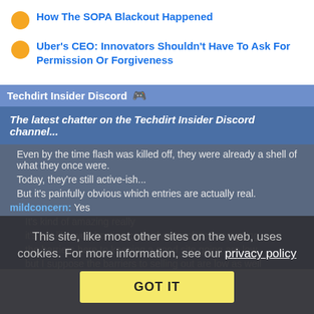How The SOPA Blackout Happened
Uber's CEO: Innovators Shouldn't Have To Ask For Permission Or Forgiveness
Techdirt Insider Discord 🎮
The latest chatter on the Techdirt Insider Discord channel...
Even by the time flash was killed off, they were already a shell of what they once were.
Today, they're still active-ish...
But it's painfully obvious which entries are actually real.
mildconcern: Yes
It's kind of amazing really
it's not like web hosting costs that much to keep going
the barriers here to keeping a good site going are low
but I suppose the barriers to selling out are low as well
This site, like most other sites on the web, uses cookies. For more information, see our privacy policy
GOT IT